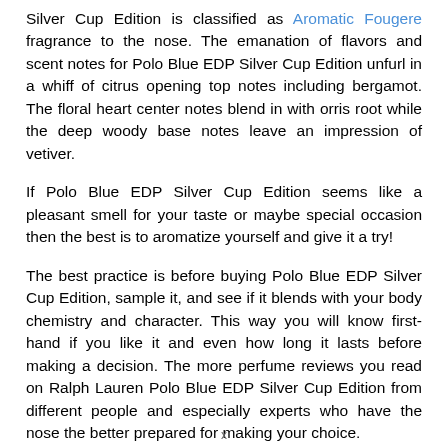Silver Cup Edition is classified as Aromatic Fougere fragrance to the nose. The emanation of flavors and scent notes for Polo Blue EDP Silver Cup Edition unfurl in a whiff of citrus opening top notes including bergamot. The floral heart center notes blend in with orris root while the deep woody base notes leave an impression of vetiver.
If Polo Blue EDP Silver Cup Edition seems like a pleasant smell for your taste or maybe special occasion then the best is to aromatize yourself and give it a try!
The best practice is before buying Polo Blue EDP Silver Cup Edition, sample it, and see if it blends with your body chemistry and character. This way you will know first-hand if you like it and even how long it lasts before making a decision. The more perfume reviews you read on Ralph Lauren Polo Blue EDP Silver Cup Edition from different people and especially experts who have the nose the better prepared for making your choice.
x